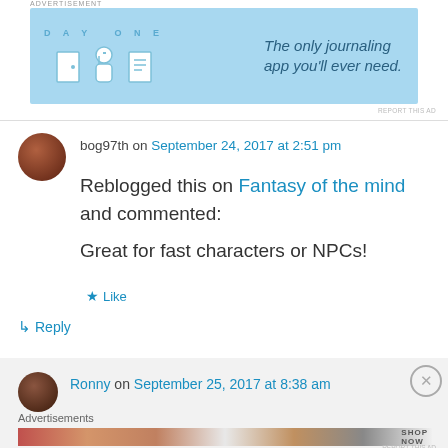[Figure (screenshot): Day One journaling app advertisement banner — light blue background with icons and text 'DAY ONE' and 'The only journaling app you’ll ever need.']
REPORT THIS AD
bog97th on September 24, 2017 at 2:51 pm
Reblogged this on Fantasy of the mind and commented:
Great for fast characters or NPCs!
★ Like
↳ Reply
Ronny on September 25, 2017 at 8:38 am
Advertisements
[Figure (screenshot): Ulta Beauty advertisement banner showing makeup products and faces with 'SHOP NOW' text.]